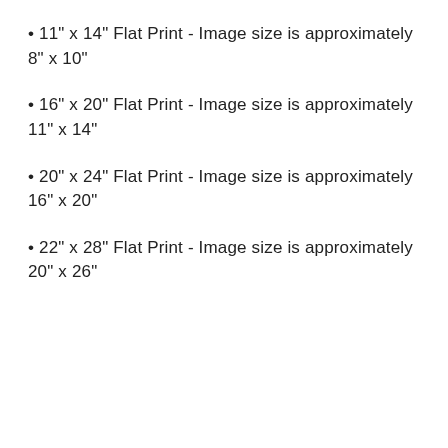11" x 14" Flat Print - Image size is approximately 8" x 10"
16" x 20" Flat Print - Image size is approximately 11" x 14"
20" x 24" Flat Print - Image size is approximately 16" x 20"
22" x 28" Flat Print - Image size is approximately 20" x 26"